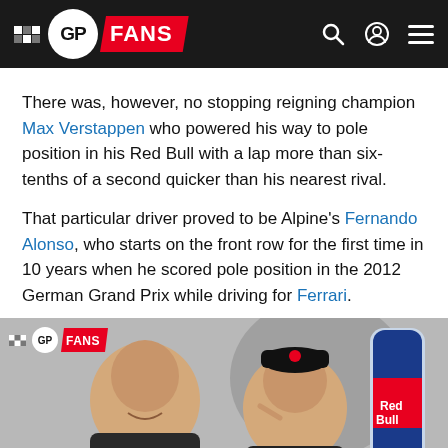GP FANS
There was, however, no stopping reigning champion Max Verstappen who powered his way to pole position in his Red Bull with a lap more than six-tenths of a second quicker than his nearest rival.
That particular driver proved to be Alpine's Fernando Alonso, who starts on the front row for the first time in 10 years when he scored pole position in the 2012 German Grand Prix while driving for Ferrari.
[Figure (photo): Two men smiling at an event; one older man on the left, one younger man wearing a Red Bull cap making a pointing gesture; a Red Bull energy drink can visible on the right; GP Fans watermark logo in top-left corner.]